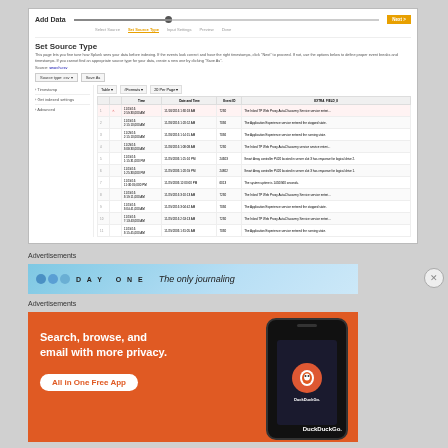[Figure (screenshot): Splunk 'Set Source Type' interface screenshot showing Add Data wizard with progress bar, Next button, data table with 11 rows of event log data including columns for line number, warning icon, Time, Date and Time, Event ID, and EXTRA_FIELD_8. Left sidebar shows Timestamp, Get indexed settings, and Advanced options.]
Advertisements
[Figure (screenshot): Day One app advertisement banner: 'The only journaling' text on blue background with app icon circles]
Advertisements
[Figure (illustration): DuckDuckGo advertisement: orange background, 'Search, browse, and email with more privacy. All in One Free App' with phone mockup showing DuckDuckGo app]